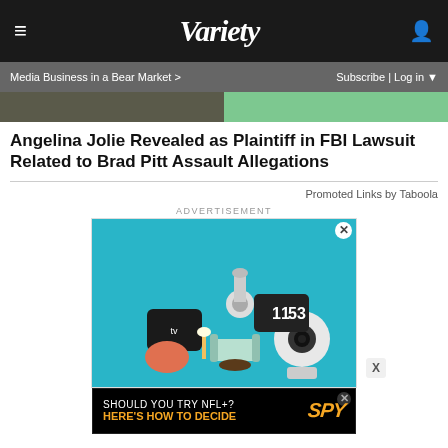VARIETY
Media Business in a Bear Market >    Subscribe | Log in ▼
[Figure (photo): Cropped hero image strip showing two people, partially visible]
Angelina Jolie Revealed as Plaintiff in FBI Lawsuit Related to Brad Pitt Assault Allegations
Promoted Links by Taboola
ADVERTISEMENT
[Figure (photo): Advertisement image showing smart home devices including Apple TV, Google Home, a security camera, and a clock on a teal background]
[Figure (photo): Bottom banner ad: SHOULD YOU TRY NFL+? HERE'S HOW TO DECIDE with SPY logo]